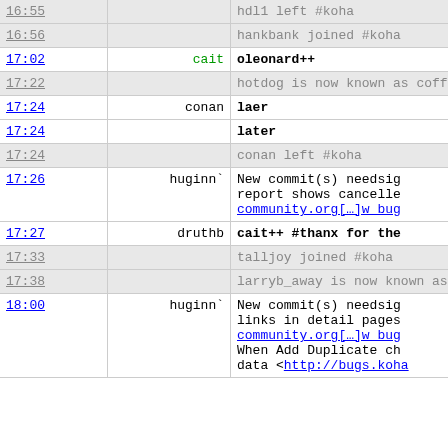| Time | Nick | Message |
| --- | --- | --- |
| 16:55 |  | hdl1 left #koha |
| 16:56 |  | hankbank joined #koha |
| 17:02 | cait | oleonard++ |
| 17:22 |  | hotdog is now known as coff |
| 17:24 | conan | laer |
| 17:24 |  | later |
| 17:24 |  | conan left #koha |
| 17:26 | huginn` | New commit(s) needsig... report shows cancelle... community.org[…]w bug... |
| 17:27 | druthb | cait++ #thanx for the |
| 17:33 |  | talljoy joined #koha |
| 17:38 |  | larryb_away is now known as |
| 18:00 | huginn` | New commit(s) needsig... links in detail pages community.org[…]w bug... When Add Duplicate ch... data <http://bugs.koha... |